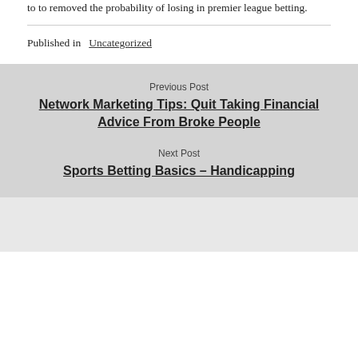to to removed the probability of losing in premier league betting.
Published in  Uncategorized
Previous Post
Network Marketing Tips: Quit Taking Financial Advice From Broke People
Next Post
Sports Betting Basics – Handicapping